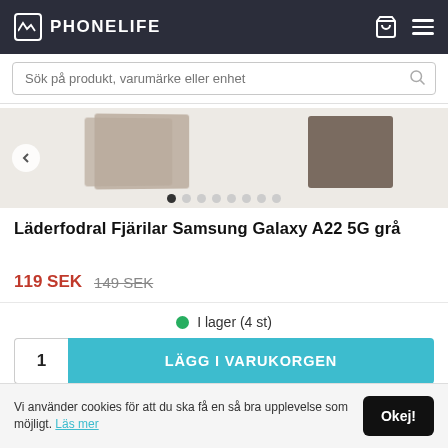PHONELIFE
Sök på produkt, varumärke eller enhet
[Figure (photo): Product images of leather wallet cases for Samsung Galaxy A22 5G in gray/brown color, with carousel dots below]
Läderfodral Fjärilar Samsung Galaxy A22 5G grå
119 SEK 149 SEK
I lager (4 st)
1  LÄGG I VARUKORGEN
Fri frakt 1-3 dagar med Postnord eller Budbee
Vi använder cookies för att du ska få en så bra upplevelse som möjligt. Läs mer